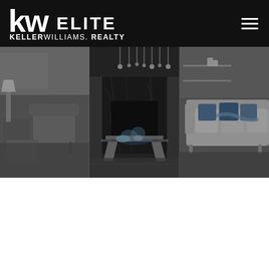KW Elite Keller Williams Realty
[Figure (photo): Interior living room photograph showing a modern luxury space with a dark marble fireplace in the center, flanked by a grey armchair on the left and a light sofa with blue pillows on the right, glass coffee table in foreground, pendant lights above, geometric patterned rug, displayed as three vertical panel split]